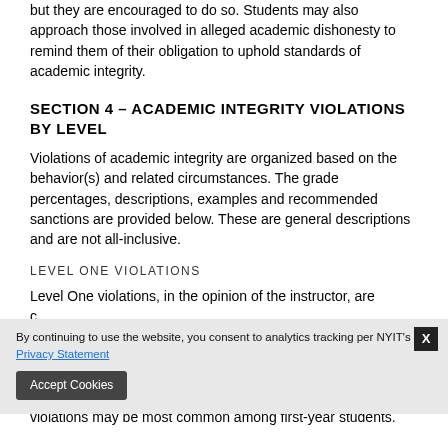but they are encouraged to do so. Students may also approach those involved in alleged academic dishonesty to remind them of their obligation to uphold standards of academic integrity.
SECTION 4 – ACADEMIC INTEGRITY VIOLATIONS BY LEVEL
Violations of academic integrity are organized based on the behavior(s) and related circumstances. The grade percentages, descriptions, examples and recommended sanctions are provided below. These are general descriptions and are not all-inclusive.
LEVEL ONE VIOLATIONS
Level One violations, in the opinion of the instructor, are considered defects in learning that reveal the reality of lack of knowledge or understanding of proper citation. Violations of this level are generally unintentional and is ... violations may be most common among first-year students.